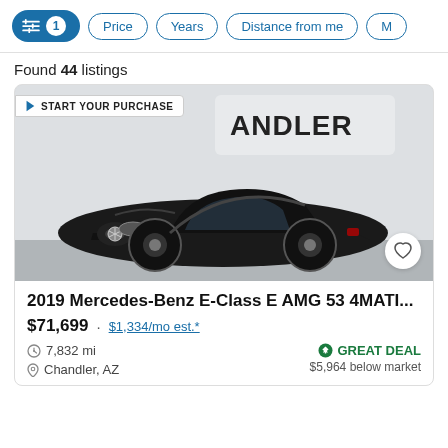Filter controls: [sliders icon] 1 | Price | Years | Distance from me | M...
Found 44 listings
[Figure (photo): Black 2019 Mercedes-Benz E-Class E AMG 53 4MATIC convertible with top down, shown in a dealership setting. Badge reads 'START YOUR PURCHASE'. Background shows partial BMW Chandler dealership sign. Heart/favorite button in bottom right.]
2019 Mercedes-Benz E-Class E AMG 53 4MATI...
$71,699 · $1,334/mo est.*
7,832 mi
GREAT DEAL
Chandler, AZ
$5,964 below market